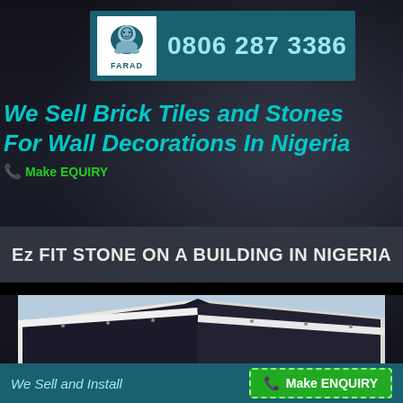[Figure (logo): FARAD company logo with phone number 0806 287 3386 on teal banner]
We Sell Brick Tiles and Stones For Wall Decorations In Nigeria
📞 Make EQUIRY
Ez FIT STONE ON A BUILDING IN NIGERIA
[Figure (photo): Photo of a building roofline with dark stone tiles and white fascia boards]
We Sell and Install
📞 Make ENQUIRY